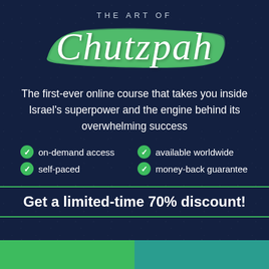THE ART OF Chutzpah
The first-ever online course that takes you inside Israel's superpower and the engine behind its overwhelming success
on-demand access
available worldwide
self-paced
money-back guarantee
Get a limited-time 70% discount!